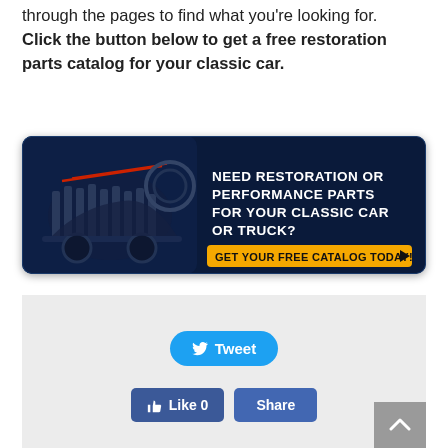through the pages to find what you're looking for. Click the button below to get a free restoration parts catalog for your classic car.
[Figure (infographic): Advertisement banner with dark blue background showing a classic car engine/cutaway image on the left, text 'NEED RESTORATION OR PERFORMANCE PARTS FOR YOUR CLASSIC CAR OR TRUCK?' in white, and an orange button 'GET YOUR FREE CATALOG TODAY!' with a right-arrow.]
[Figure (screenshot): Social sharing widget with a Twitter Tweet button and Facebook Like/Share buttons on a light grey background.]